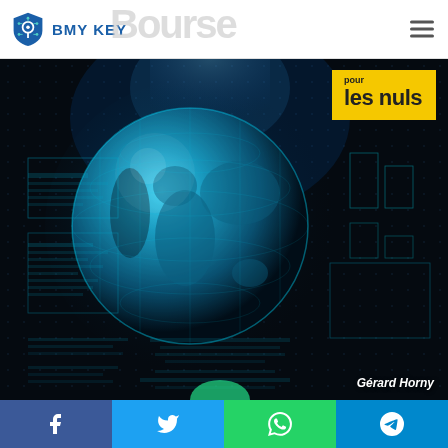[Figure (logo): BMY KEY shield logo with keyhole icon and text 'BMY KEY', alongside 'Bourse' watermark text in grey]
[Figure (photo): Dark technology background featuring a glowing blue globe/Earth with data visualization overlays, grid lines, and financial/data charts. 'pour les nuls' yellow badge in top right corner. Author name 'Gérard Horny' in bottom right.]
Gérard Horny
[Figure (infographic): Social sharing bar with four buttons: Facebook (blue), Twitter (light blue), WhatsApp (green), Telegram (blue)]